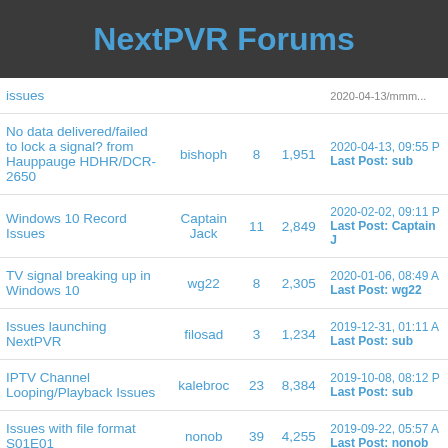NextPVR Forums
| Thread | Author | Replies | Views | Last Post |
| --- | --- | --- | --- | --- |
| issues |  |  |  | 2020-...
Last Post: ... |
| No data delivered/failed to lock a signal? from Hauppauge HDHR/DCR-2650 | bishoph | 8 | 1,951 | 2020-04-13, 09:55 P
Last Post: sub |
| Windows 10 Record Issues | Captain Jack | 11 | 2,849 | 2020-02-02, 09:11 P
Last Post: Captain J |
| TV signal breaking up in Windows 10 | wg22 | 8 | 2,305 | 2020-01-06, 08:49 A
Last Post: wg22 |
| Issues launching NextPVR | filosad | 3 | 1,234 | 2019-12-31, 01:11 A
Last Post: sub |
| IPTV Channel Looping/Playback Issues | kalebroc | 23 | 8,384 | 2019-10-08, 08:12 P
Last Post: sub |
| Issues with file format S01E01 | nonob | 39 | 4,255 | 2019-09-22, 05:57 A
Last Post: nonob |